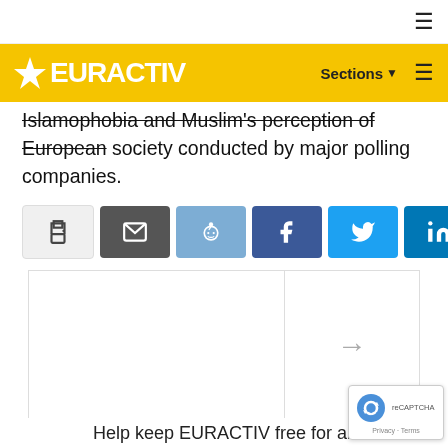EURACTIV
Islamophobia and Muslim's perception of European society conducted by major polling companies.
[Figure (screenshot): Row of social share buttons: print, email, Reddit, Facebook, Twitter, LinkedIn, WhatsApp, Telegram]
[Figure (logo): EURACTIV logo (star + E in yellow) inside a bordered ad/embed box]
Help keep EURACTIV free for all
[Figure (other): Google reCAPTCHA badge with Privacy and Terms links]